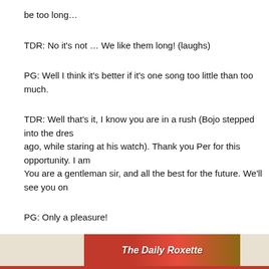be too long…
TDR: No it's not … We like them long! (laughs)
PG: Well I think it's better if it's one song too little than too much.
TDR: Well that's it, I know you are in a rush (Bojo stepped into the dressing room a while ago, while staring at his watch). Thank you Per for this opportunity. I am… You are a gentleman sir, and all the best for the future. We'll see you on…
PG: Only a pleasure!
And off we were to enjoy another night on this seemingly endless joyride…
Hanro Manefeldt for The Daily Roxette & Roxette South Africa signing o…
[Figure (logo): The Daily Roxette banner logo with stylized text on a red/brown gradient background]
This article was written for an earlier version of The Daily Roxette.